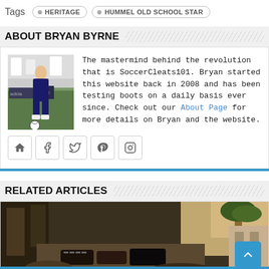Tags  • HERITAGE  • HUMMEL OLD SCHOOL STAR
ABOUT BRYAN BYRNE
[Figure (photo): Photo of Bryan Byrne playing soccer, wearing a dark blue jersey, dribbling a ball on the field]
The mastermind behind the revolution that is SoccerCleats101. Bryan started this website back in 2008 and has been testing boots on a daily basis ever since. Check out our About Page for more details on Bryan and the website.
[Figure (other): Social media icons: home, facebook, twitter, pinterest, instagram]
RELATED ARTICLES
[Figure (photo): Outdoor photo showing soccer cleats/boots on ground with trees and buildings in background]